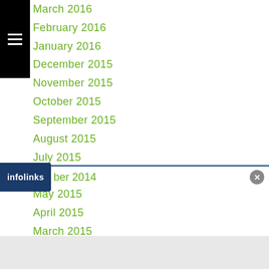March 2016
February 2016
January 2016
December 2015
November 2015
October 2015
September 2015
August 2015
July 2015
June 2015
May 2015
April 2015
March 2015
February 2015
January 2015
December 2014
...ber 2014